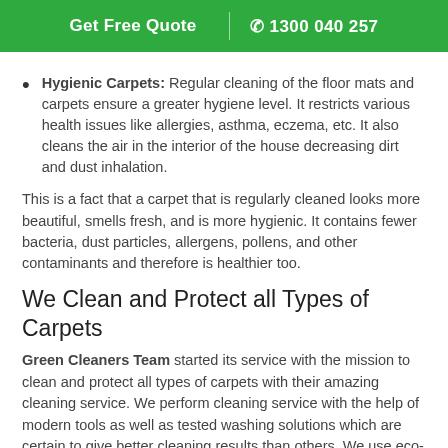Get Free Quote | 1300 040 257
Hygienic Carpets: Regular cleaning of the floor mats and carpets ensure a greater hygiene level. It restricts various health issues like allergies, asthma, eczema, etc. It also cleans the air in the interior of the house decreasing dirt and dust inhalation.
This is a fact that a carpet that is regularly cleaned looks more beautiful, smells fresh, and is more hygienic. It contains fewer bacteria, dust particles, allergens, pollens, and other contaminants and therefore is healthier too.
We Clean and Protect all Types of Carpets
Green Cleaners Team started its service with the mission to clean and protect all types of carpets with their amazing cleaning service. We perform cleaning service with the help of modern tools as well as tested washing solutions which are certain to give better cleaning results than others. We use eco-friendly cleaning solution which is safe for all. While selecting the cleaning methods and required equipment for the job, we ensure cleaning in all the kinds of carpet